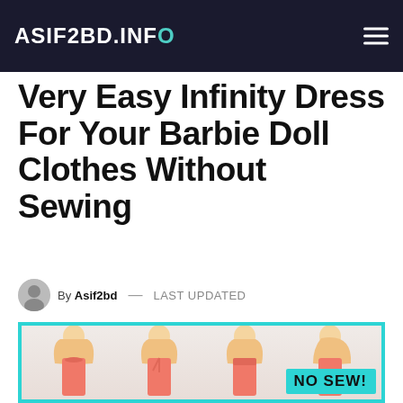ASIF2BD.INFO
Very Easy Infinity Dress For Your Barbie Doll Clothes Without Sewing
By Asif2bd — LAST UPDATED
[Figure (photo): Four Barbie dolls wearing coral/salmon colored infinity dresses in different styles (strapless, halter, high-neck, one-shoulder), with a cyan 'NO SEW!' badge in the bottom right corner.]